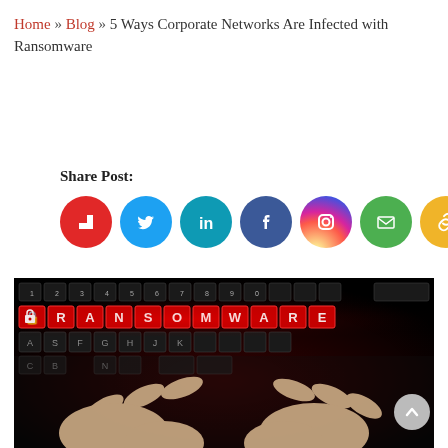Home » Blog » 5 Ways Corporate Networks Are Infected with Ransomware
Share Post:
[Figure (infographic): Social share icons: Flipboard (red), Twitter (blue), LinkedIn (teal), Facebook (dark blue), Instagram (purple/gradient), Email (green), Copy link (yellow/gold)]
[Figure (photo): Dark photograph of hands typing on a keyboard with the word RANSOMWARE illuminated in red on the keys]